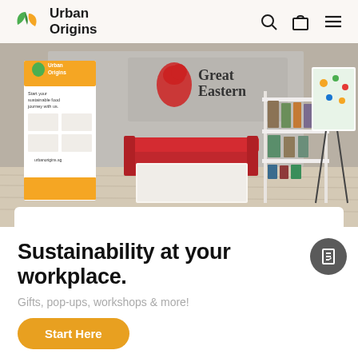Urban Origins
[Figure (photo): Indoor pop-up display booth at Great Eastern office showing Urban Origins branded banner, shelving unit with sustainable food products, red seating area, and educational poster on easel]
Sustainability at your workplace.
Gifts, pop-ups, workshops & more!
Start Here